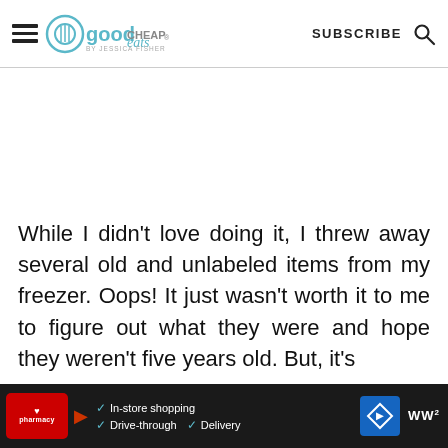good CHEAP eats by Jessica Fisher | SUBSCRIBE
While I didn't love doing it, I threw away several old and unlabeled items from my freezer. Oops! It just wasn't worth it to me to figure out what they were and hope they weren't five years old. But, it's re...
[Figure (screenshot): Advertisement bar at the bottom showing CVS Pharmacy logo with In-store shopping, Drive-through, Delivery options, and a navigation arrow icon]